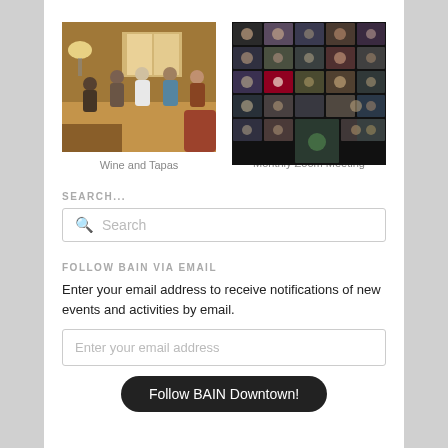[Figure (photo): Indoor social gathering with people mingling, warm lighting, living room setting]
Wine and Tapas
[Figure (photo): Grid of video call participants in a Zoom meeting, many faces visible in dark background tiles]
Monthly Zoom Meeting
SEARCH...
Search
FOLLOW BAIN VIA EMAIL
Enter your email address to receive notifications of new events and activities by email.
Enter your email address
Follow BAIN Downtown!